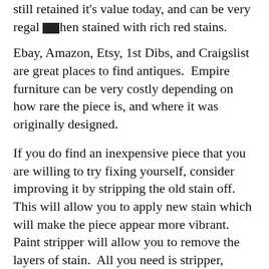still retained it's value today, and can be very regal when stained with rich red stains.
Ebay, Amazon, Etsy, 1st Dibs, and Craigslist are great places to find antiques.  Empire furniture can be very costly depending on how rare the piece is, and where it was originally designed.
If you do find an inexpensive piece that you are willing to try fixing yourself, consider improving it by stripping the old stain off.  This will allow you to apply new stain which will make the piece appear more vibrant.  Paint stripper will allow you to remove the layers of stain.  All you need is stripper, heavy duty gloves, clear safety glasses, a scraper, and an industrial mask.   When most of the finish comes off, one simple trick I have used is to take hot water and a scour pad, and dish soap and clean the stripper away along with any left over residue. This helps to